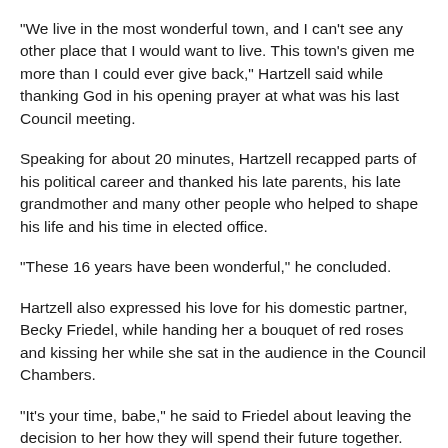“We live in the most wonderful town, and I can't see any other place that I would want to live. This town's given me more than I could ever give back,” Hartzell said while thanking God in his opening prayer at what was his last Council meeting.
Speaking for about 20 minutes, Hartzell recapped parts of his political career and thanked his late parents, his late grandmother and many other people who helped to shape his life and his time in elected office.
“These 16 years have been wonderful,” he concluded.
Hartzell also expressed his love for his domestic partner, Becky Friedel, while handing her a bouquet of red roses and kissing her while she sat in the audience in the Council Chambers.
“It’s your time, babe,” he said to Friedel about leaving the decision to her how they will spend their future together.